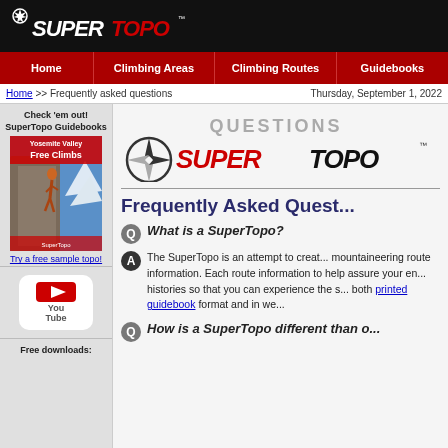[Figure (logo): SuperTopo logo on black header bar]
Home | Climbing Areas | Climbing Routes | Guidebooks
Home >> Frequently asked questions    Thursday, September 1, 2022
Check 'em out! SuperTopo Guidebooks
[Figure (photo): Yosemite Valley Free Climbs guidebook cover showing climber on rock face]
Try a free sample topo!
[Figure (logo): YouTube logo icon]
Free downloads:
[Figure (logo): Questions SuperTopo logo]
Frequently Asked Quest...
What is a SuperTopo?
The SuperTopo is an attempt to create the most useful mountaineering route information. Each route information to help assure your en... histories so that you can experience the s... both printed guidebook format and in we...
How is a SuperTopo different than o...